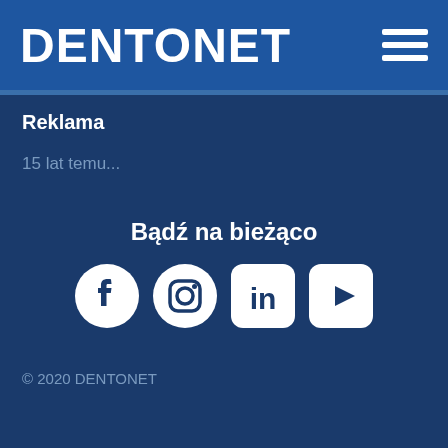DENTONET
Reklama
15 lat temu...
Bądź na bieżąco
[Figure (infographic): Social media icons: Facebook, Instagram, LinkedIn, YouTube]
© 2020 DENTONET